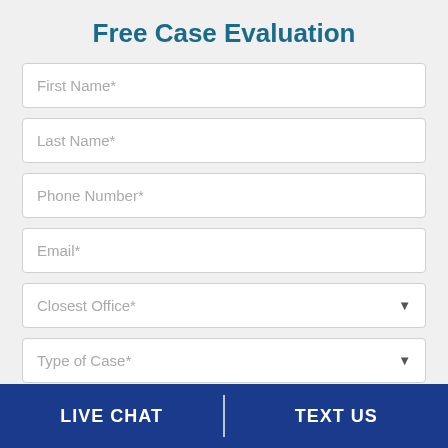Free Case Evaluation
First Name*
Last Name*
Phone Number*
Email*
Closest Office*
Type of Case*
Submit
LIVE CHAT   TEXT US